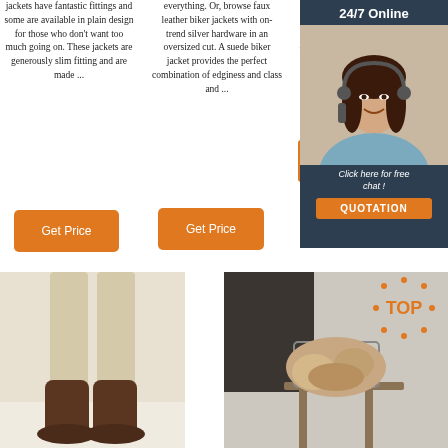jackets have fantastic fittings and some are available in plain design for those who don't want too much going on. These jackets are generously slim fitting and are made ...
everything. Or, browse faux leather biker jackets with on-trend silver hardware in an oversized cut. A suede biker jacket provides the perfect combination of edginess and class and ...
student or a middle-aged mom, real leather jackets are an essential part of every modern wardrobe ex
[Figure (infographic): 24/7 Online chat widget showing a woman with a headset, with 'Click here for free chat!' text and an orange QUOTATION button]
[Figure (photo): Person wearing brown boots and beige pants]
[Figure (photo): Fluffy sheepskin/fur item on a wire rack with a TOP badge overlay]